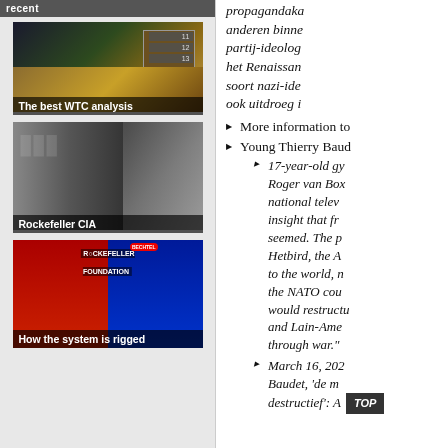[Figure (screenshot): Left column showing a website sidebar with 'recent' label and three thumbnail images with captions: 'The best WTC analysis', 'Rockefeller CIA', 'How the system is rigged']
propagandaka anderen binne partij-ideolog het Renaissan soort nazi-ide ook uitdroeg i
More information to
Young Thierry Baud
17-year-old gy Roger van Box national telev insight that fr seemed. The p Hetbird, the A to the world, n the NATO cou would restructu and Lain-Ame through war."
March 16, 202 Baudet, 'de m destructief': A
[Figure (screenshot): TOP button overlay]